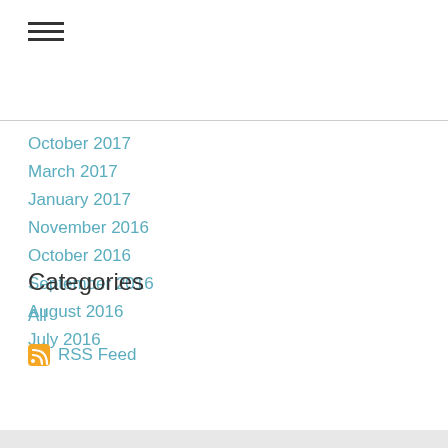[Figure (other): Hamburger menu icon with three horizontal lines]
October 2017
March 2017
January 2017
November 2016
October 2016
September 2016
August 2016
July 2016
Categories
All
RSS Feed